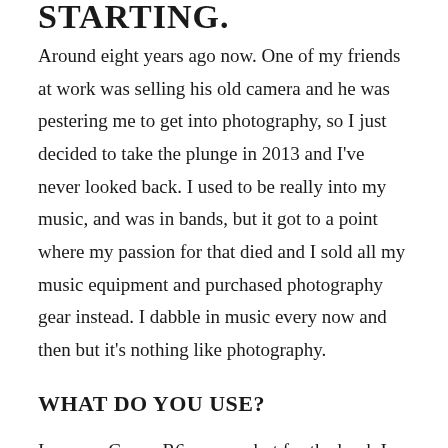STARTING.
Around eight years ago now. One of my friends at work was selling his old camera and he was pestering me to get into photography, so I just decided to take the plunge in 2013 and I’ve never looked back. I used to be really into my music, and was in bands, but it got to a point where my passion for that died and I sold all my music equipment and purchased photography gear instead. I dabble in music every now and then but it’s nothing like photography.
WHAT DO YOU USE?
I use my Canon R6 camera, but for the book I used a Canon which the majority of the